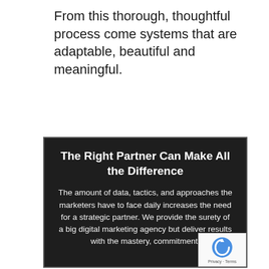From this thorough, thoughtful process come systems that are adaptable, beautiful and meaningful.
The Right Partner Can Make All the Difference
The amount of data, tactics, and approaches the marketers have to face daily increases the need for a strategic partner. We provide the surety of a big digital marketing agency but deliver results with the mastery, commitment,